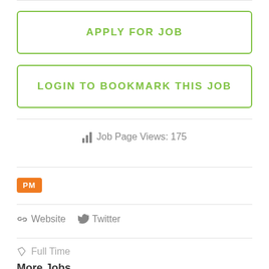APPLY FOR JOB
LOGIN TO BOOKMARK THIS JOB
Job Page Views: 175
[Figure (logo): Orange PM badge/avatar]
Website   Twitter
Full Time
More Jobs